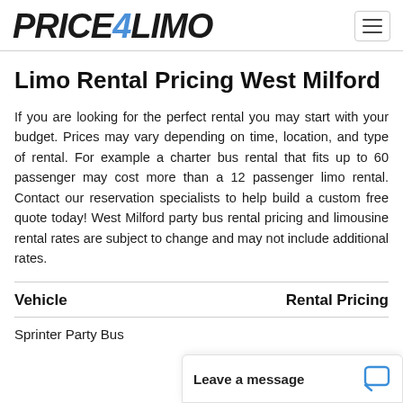PRICE4LIMO
Limo Rental Pricing West Milford
If you are looking for the perfect rental you may start with your budget. Prices may vary depending on time, location, and type of rental. For example a charter bus rental that fits up to 60 passenger may cost more than a 12 passenger limo rental. Contact our reservation specialists to help build a custom free quote today! West Milford party bus rental pricing and limousine rental rates are subject to change and may not include additional rates.
| Vehicle | Rental Pricing |
| --- | --- |
| Sprinter Party Bus |  |
Leave a message